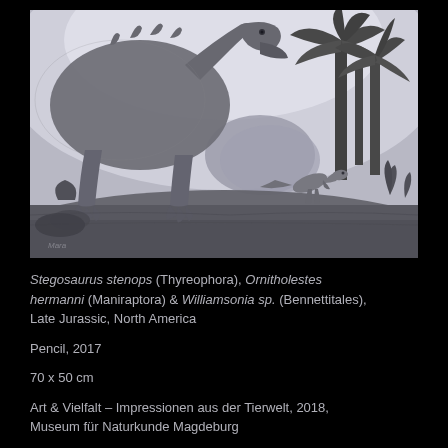[Figure (illustration): Black and white pencil illustration showing Stegosaurus stenops (large armored dinosaur, close-up of body and head) and Ornitholestes hermanni (small bipedal dinosaur running in background), with Williamsonia sp. trees, Late Jurassic North America scene. Artist signature visible lower left.]
Stegosaurus stenops (Thyreophora), Ornitholestes hermanni (Maniraptora) & Williamsonia sp. (Bennettitales), Late Jurassic, North America
Pencil, 2017
70 x 50 cm
Art & Vielfalt – Impressionen aus der Tierwelt, 2018, Museum für Naturkunde Magdeburg